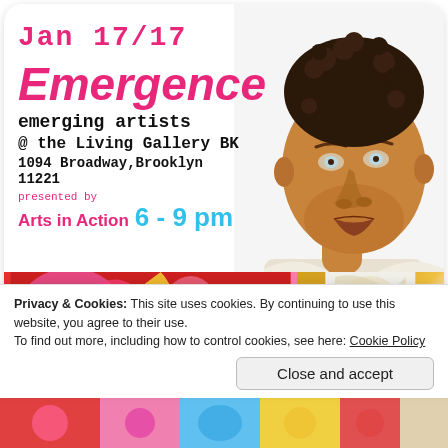Jan 17/17
Emergence
emerging artists
@ the Living Gallery BK
1094 Broadway,Brooklyn 11221
presented by
Arts in Action  6 - 9 pm
[Figure (illustration): Illustrated portrait of a person with short natural hair, brown skin, wearing a patterned top, with a calm, contemplative expression]
[Figure (illustration): Colorful artwork strip at bottom of card showing abstract figures and shapes in red, pink, yellow, white and black]
Privacy & Cookies: This site uses cookies. By continuing to use this website, you agree to their use.
To find out more, including how to control cookies, see here: Cookie Policy
Close and accept
[Figure (illustration): Colorful abstract artwork strip at very bottom of page]